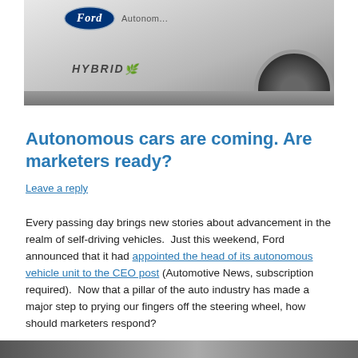[Figure (photo): Photo of a white Ford Autonomous Hybrid vehicle showing the Ford logo and 'HYBRID' badge on the car body, with a wheel visible at the bottom right.]
Autonomous cars are coming. Are marketers ready?
Leave a reply
Every passing day brings new stories about advancement in the realm of self-driving vehicles.  Just this weekend, Ford announced that it had appointed the head of its autonomous vehicle unit to the CEO post (Automotive News, subscription required).  Now that a pillar of the auto industry has made a major step to prying our fingers off the steering wheel, how should marketers respond?
[Figure (photo): Partial photo visible at the bottom of the page, cropped.]